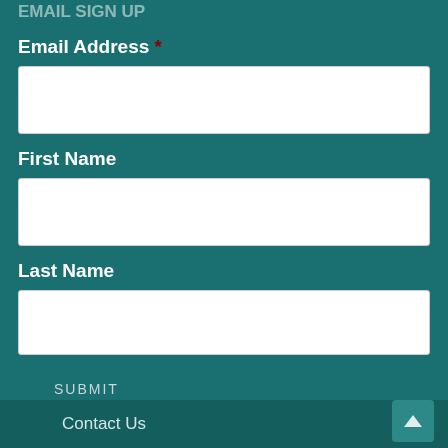Email Address *
First Name
Last Name
SUBMIT
Contact Us